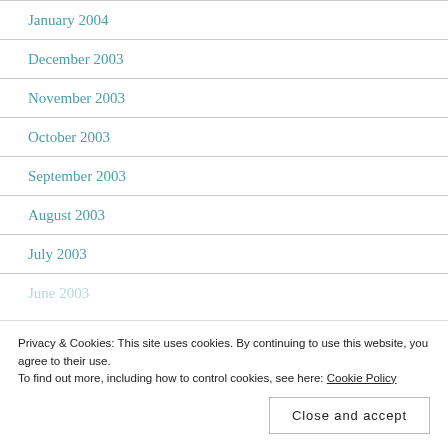January 2004
December 2003
November 2003
October 2003
September 2003
August 2003
July 2003
June 2003
Privacy & Cookies: This site uses cookies. By continuing to use this website, you agree to their use.
To find out more, including how to control cookies, see here: Cookie Policy
Close and accept